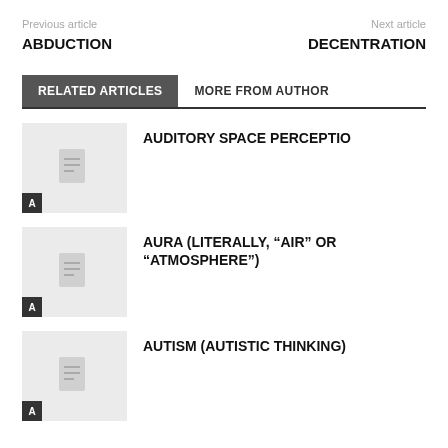Previous article    Next article
ABDUCTION    DECENTRATION
RELATED ARTICLES    MORE FROM AUTHOR
AUDITORY SPACE PERCEPTIO
AURA (LITERALLY, “AIR” OR “ATMOSPHERE”)
AUTISM (AUTISTIC THINKING)